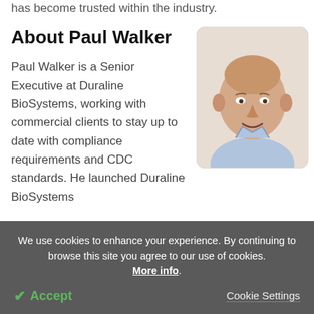has become trusted within the industry.
About Paul Walker
Paul Walker is a Senior Executive at Duraline BioSystems, working with commercial clients to stay up to date with compliance requirements and CDC standards. He launched Duraline BioSystems
[Figure (photo): Headshot photo of Paul Walker, an elderly man smiling, wearing a light blue collared shirt, with a rounded rectangle border.]
We use cookies to enhance your experience. By continuing to browse this site you agree to our use of cookies. More info.
✔ Accept
Cookie Settings